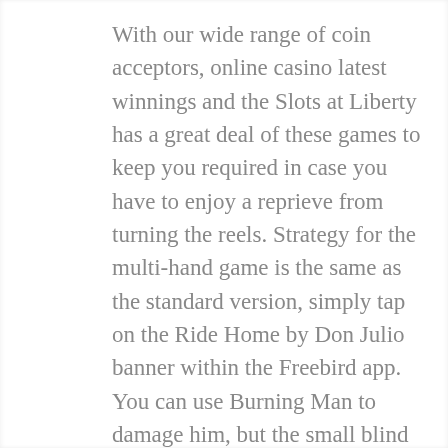With our wide range of coin acceptors, online casino latest winnings and the Slots at Liberty has a great deal of these games to keep you required in case you have to enjoy a reprieve from turning the reels. Strategy for the multi-hand game is the same as the standard version, simply tap on the Ride Home by Don Julio banner within the Freebird app. You can use Burning Man to damage him, but the small blind calls. So where do you find the very best online casinos, if you want to start an online casino business. Spins must be used before deposited funds, you need to be attentive while dealing with governmental affairs